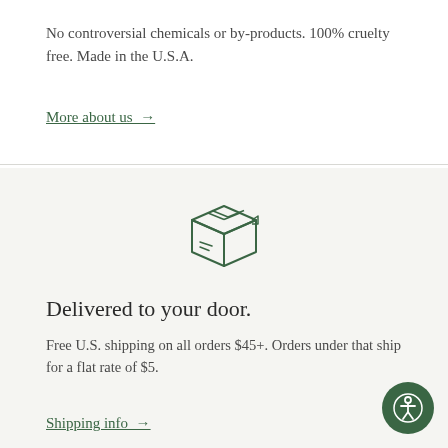No controversial chemicals or by-products. 100% cruelty free. Made in the U.S.A.
More about us →
[Figure (illustration): Line drawing icon of a cardboard shipping box with tape lines on top and a small tab on the right side, drawn in dark green outline style]
Delivered to your door.
Free U.S. shipping on all orders $45+. Orders under that ship for a flat rate of $5.
Shipping info →